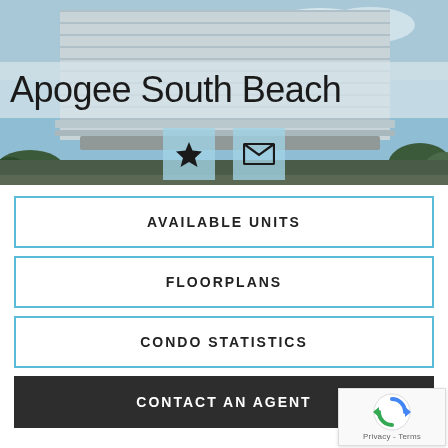[Figure (photo): Aerial/exterior photo of a modern high-rise condo building (Apogee South Beach) with glass balconies against a blue sky, palm trees visible at bottom]
Apogee South Beach
[Figure (infographic): Two icon buttons: a star (favorite) icon and an envelope (email/contact) icon, both with light blue backgrounds]
AVAILABLE UNITS
FLOORPLANS
CONDO STATISTICS
CONTACT AN AGENT
[Figure (logo): reCAPTCHA widget with rotating arrows logo and Privacy - Terms text]